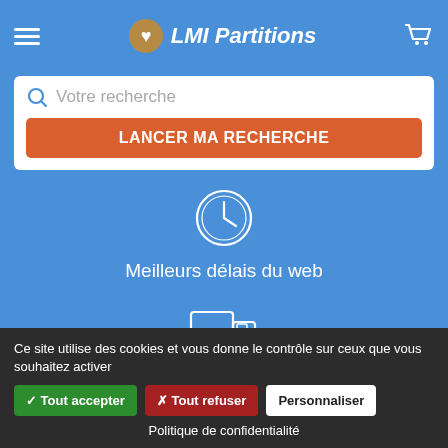LMI Partitions
[Figure (screenshot): Search bar with magnifying glass icon and placeholder text 'Votre recherche', and orange button 'LANCER MA RECHERCHE']
[Figure (illustration): Clock icon with text 'Meilleurs délais du web']
[Figure (illustration): Delivery truck icon with text 'Frais de port à prix coûtant']
Ce site utilise des cookies et vous donne le contrôle sur ceux que vous souhaitez activer
✓ Tout accepter  ✗ Tout refuser  Personnaliser
Politique de confidentialité